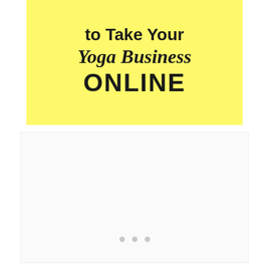[Figure (illustration): Yellow banner with bold text reading 'to Take Your Yoga Business ONLINE' in a combination of serif italic and bold sans-serif fonts on a bright yellow background]
[Figure (illustration): White/light gray empty box with three small gray dots at the bottom center, suggesting a loading or placeholder content area]